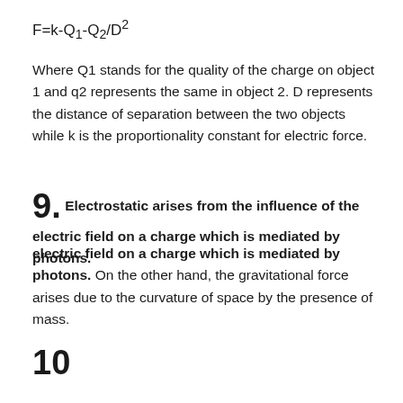F=k-Q1-Q2/D²
Where Q1 stands for the quality of the charge on object 1 and q2 represents the same in object 2. D represents the distance of separation between the two objects while k is the proportionality constant for electric force.
9. Electrostatic arises from the influence of the electric field on a charge which is mediated by photons. On the other hand, the gravitational force arises due to the curvature of space by the presence of mass.
10.